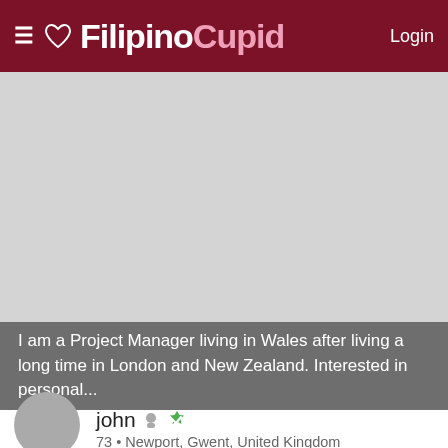≡ ♡ FilipinoCupid Login
[Figure (photo): Large gray placeholder rectangle representing a profile photo area]
I am a Project Manager living in Wales after living a long time in London and New Zealand. Interested in personal...
[Figure (photo): Round gray avatar circle placeholder for user profile photo]
john 73 • Newport, Gwent, United Kingdom